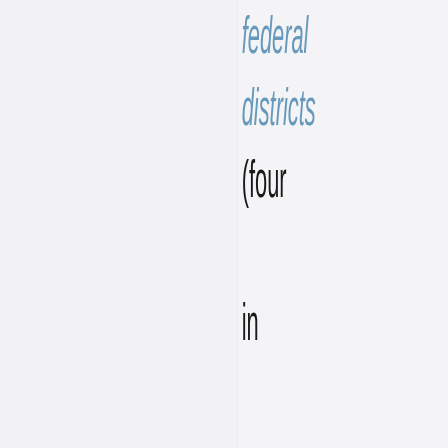federal districts (four in Europe, three in Asia) have been added as a new layer